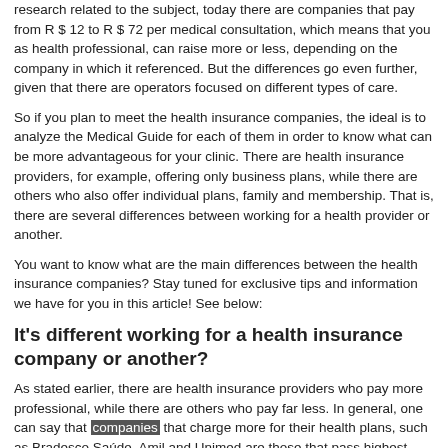research related to the subject, today there are companies that pay from R $ 12 to R $ 72 per medical consultation, which means that you as health professional, can raise more or less, depending on the company in which it referenced. But the differences go even further, given that there are operators focused on different types of care.
So if you plan to meet the health insurance companies, the ideal is to analyze the Medical Guide for each of them in order to know what can be more advantageous for your clinic. There are health insurance providers, for example, offering only business plans, while there are others who also offer individual plans, family and membership. That is, there are several differences between working for a health provider or another.
You want to know what are the main differences between the health insurance companies? Stay tuned for exclusive tips and information we have for you in this article! See below:
It's different working for a health insurance company or another?
As stated earlier, there are health insurance providers who pay more professional, while there are others who pay far less. In general, one can say that companies that charge more for their health plans, such as Bradesco Saúde, Amil and Unimed are those that pass highest values to the accredited health professionals, while...